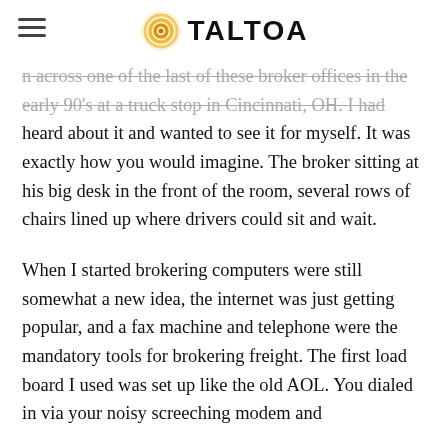TALTOA
across one of the last of these broker offices in the early 90's at a truck stop in Cincinnati, OH. I had heard about it and wanted to see it for myself. It was exactly how you would imagine. The broker sitting at his big desk in the front of the room, several rows of chairs lined up where drivers could sit and wait.
When I started brokering computers were still somewhat a new idea, the internet was just getting popular, and a fax machine and telephone were the mandatory tools for brokering freight. The first load board I used was set up like the old AOL. You dialed in via your noisy screeching modem and